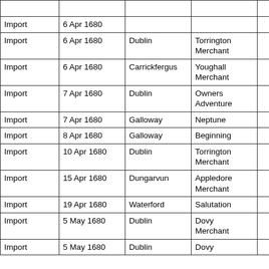|  |  |  |  |  |
| Import | 6 Apr 1680 |  |  |  |
| Import | 6 Apr 1680 | Dublin | Torrington Merchant |  |
| Import | 6 Apr 1680 | Carrickfergus | Youghall Merchant |  |
| Import | 7 Apr 1680 | Dublin | Owners Adventure |  |
| Import | 7 Apr 1680 | Galloway | Neptune |  |
| Import | 8 Apr 1680 | Galloway | Beginning |  |
| Import | 10 Apr 1680 | Dublin | Torrington Merchant |  |
| Import | 15 Apr 1680 | Dungarvun | Appledore Merchant |  |
| Import | 19 Apr 1680 | Waterford | Salutation |  |
| Import | 5 May 1680 | Dublin | Dovy Merchant |  |
| Import | 5 May 1680 | Dublin | Dovy |  |